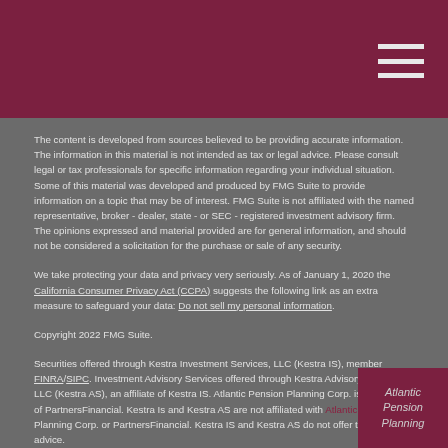The content is developed from sources believed to be providing accurate information. The information in this material is not intended as tax or legal advice. Please consult legal or tax professionals for specific information regarding your individual situation. Some of this material was developed and produced by FMG Suite to provide information on a topic that may be of interest. FMG Suite is not affiliated with the named representative, broker - dealer, state - or SEC - registered investment advisory firm. The opinions expressed and material provided are for general information, and should not be considered a solicitation for the purchase or sale of any security.
We take protecting your data and privacy very seriously. As of January 1, 2020 the California Consumer Privacy Act (CCPA) suggests the following link as an extra measure to safeguard your data: Do not sell my personal information.
Copyright 2022 FMG Suite.
Securities offered through Kestra Investment Services, LLC (Kestra IS), member FINRA/SIPC. Investment Advisory Services offered through Kestra Advisory Services, LLC (Kestra AS), an affiliate of Kestra IS. Atlantic Pension Planning Corp. is a member of PartnersFinancial. Kestra Is and Kestra AS are not affiliated with Atlantic Pension Planning Corp. or PartnersFinancial. Kestra IS and Kestra AS do not offer tax or legal advice.
This site is published for residents of the United States only. Registered